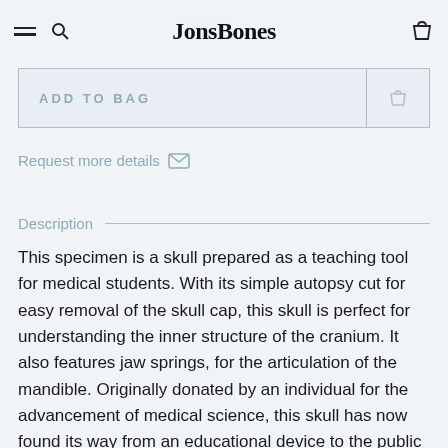JonsBones
ADD TO BAG
Request more details
Description
This specimen is a skull prepared as a teaching tool for medical students. With its simple autopsy cut for easy removal of the skull cap, this skull is perfect for understanding the inner structure of the cranium. It also features jaw springs, for the articulation of the mandible. Originally donated by an individual for the advancement of medical science, this skull has now found its way from an educational device to the public market. Responsibly